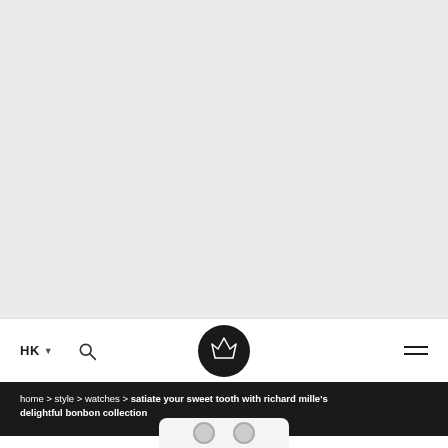[Figure (photo): Light grey hero image placeholder area occupying the top portion of the page]
HK ▾  [search icon]  [crown logo]  [menu icon]
home > style > watches > satiate your sweet tooth with richard mille's delightful bonbon collection
[Figure (photo): Partial view of Richard Mille watch peeking at bottom of page]